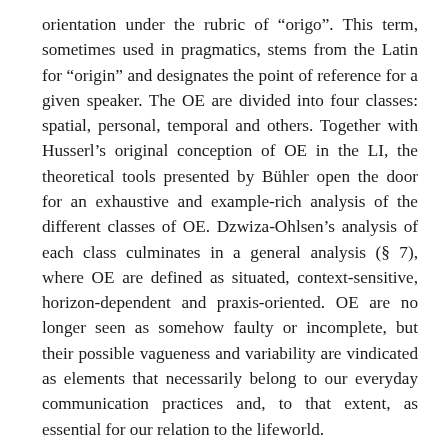orientation under the rubric of “origo”. This term, sometimes used in pragmatics, stems from the Latin for “origin” and designates the point of reference for a given speaker. The OE are divided into four classes: spatial, personal, temporal and others. Together with Husserl’s original conception of OE in the LI, the theoretical tools presented by Bühler open the door for an exhaustive and example-rich analysis of the different classes of OE. Dzwiza-Ohlsen’s analysis of each class culminates in a general analysis (§ 7), where OE are defined as situated, context-sensitive, horizon-dependent and praxis-oriented. OE are no longer seen as somehow faulty or incomplete, but their possible vagueness and variability are vindicated as elements that necessarily belong to our everyday communication practices and, to that extent, as essential for our relation to the lifeworld.